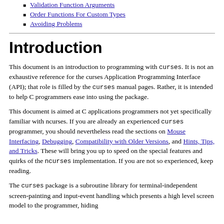Validation Function Arguments
Order Functions For Custom Types
Avoiding Problems
Introduction
This document is an introduction to programming with curses. It is not an exhaustive reference for the curses Application Programming Interface (API); that role is filled by the curses manual pages. Rather, it is intended to help C programmers ease into using the package.
This document is aimed at C applications programmers not yet specifically familiar with ncurses. If you are already an experienced curses programmer, you should nevertheless read the sections on Mouse Interfacing, Debugging, Compatibility with Older Versions, and Hints, Tips, and Tricks. These will bring you up to speed on the special features and quirks of the ncurses implementation. If you are not so experienced, keep reading.
The curses package is a subroutine library for terminal-independent screen-painting and input-event handling which presents a high level screen model to the programmer, hiding